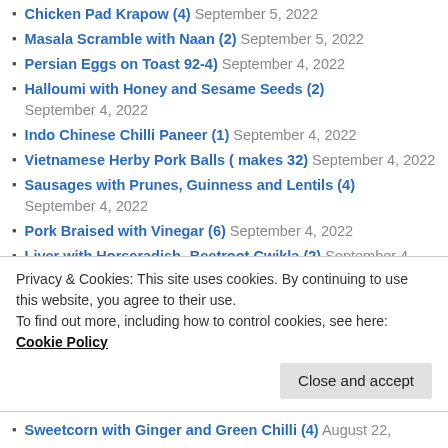Chicken Pad Krapow (4) September 5, 2022
Masala Scramble with Naan (2) September 5, 2022
Persian Eggs on Toast 92-4) September 4, 2022
Halloumi with Honey and Sesame Seeds (2) September 4, 2022
Indo Chinese Chilli Paneer (1) September 4, 2022
Vietnamese Herby Pork Balls ( makes 32) September 4, 2022
Sausages with Prunes, Guinness and Lentils (4) September 4, 2022
Pork Braised with Vinegar (6) September 4, 2022
Liver with Horseradish- Beetroot Cwikla (2) September 4, 2022
Turkey Escalope with Cucumber Salad (5) September
Privacy & Cookies: This site uses cookies. By continuing to use this website, you agree to their use. To find out more, including how to control cookies, see here: Cookie Policy
Sweetcorn with Ginger and Green Chilli (4) August 22,